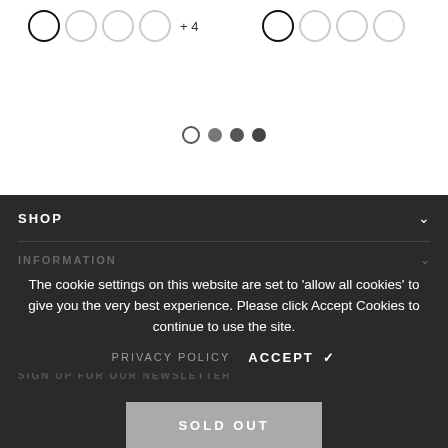[Figure (screenshot): Color swatch selectors on left side with one outlined circle swatch and three faded circles, plus '+4' label. On the right side, four circles with one outlined and three faded.]
[Figure (screenshot): Carousel pagination dots: one empty circle outline, followed by three filled dark dots.]
SHOP
INFORMATION
CUSTOMER SERVICE
The cookie settings on this website are set to 'allow all cookies' to give you the very best experience. Please click Accept Cookies to continue to use the site.
PRIVACY POLICY   ACCEPT ✓
SIGN UP FOR OUR NEWSLETTER
SOLD OUT